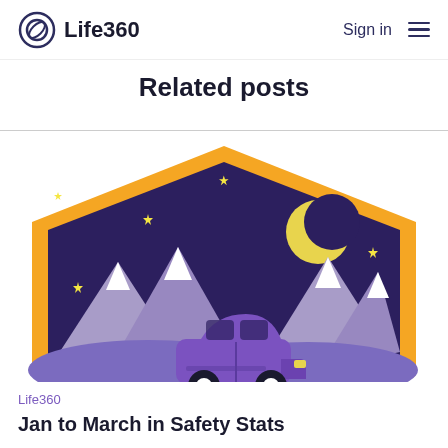Life360  Sign in ≡
Related posts
[Figure (illustration): Illustration of a purple car driving at night in front of snow-capped mountains under a crescent moon and stars, framed in an orange pentagon-shaped badge with rounded corners.]
Life360
Jan to March in Safety Stats